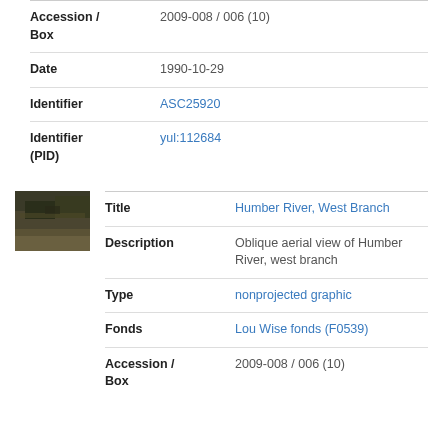| Field | Value |
| --- | --- |
| Accession / Box | 2009-008 / 006 (10) |
| Date | 1990-10-29 |
| Identifier | ASC25920 |
| Identifier (PID) | yul:112684 |
[Figure (photo): Oblique aerial photograph of Humber River, west branch, showing landscape with earth tones]
| Field | Value |
| --- | --- |
| Title | Humber River, West Branch |
| Description | Oblique aerial view of Humber River, west branch |
| Type | nonprojected graphic |
| Fonds | Lou Wise fonds (F0539) |
| Accession / Box | 2009-008 / 006 (10) |